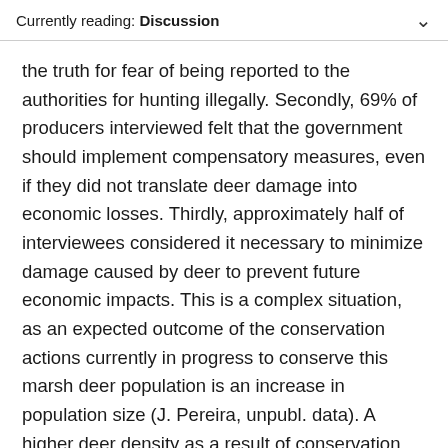Currently reading: Discussion
the truth for fear of being reported to the authorities for hunting illegally. Secondly, 69% of producers interviewed felt that the government should implement compensatory measures, even if they did not translate deer damage into economic losses. Thirdly, approximately half of interviewees considered it necessary to minimize damage caused by deer to prevent future economic impacts. This is a complex situation, as an expected outcome of the conservation actions currently in progress to conserve this marsh deer population is an increase in population size (J. Pereira, unpubl. data). A higher deer density as a result of conservation actions may trigger higher levels of damage and new claims for compensation by producers. However, the supposition that people respond proportionately to the level of damage experienced is